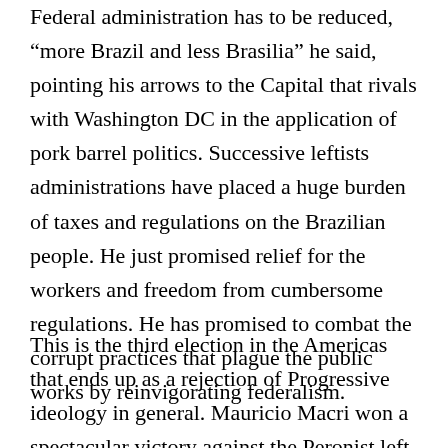Federal administration has to be reduced, “more Brazil and less Brasilia” he said, pointing his arrows to the Capital that rivals with Washington DC in the application of pork barrel politics. Successive leftists administrations have placed a huge burden of taxes and regulations on the Brazilian people. He just promised relief for the workers and freedom from cumbersome regulations. He has promised to combat the corrupt practices that plague the public works by reinvigorating federalism.
This is the third election in the Americas that ends up as a rejection of Progressive ideology in general. Mauricio Macri won a spectacular victory against the Peronist left in Argentina but so far it has been a great disappointment. Macri’s tepid administration has not